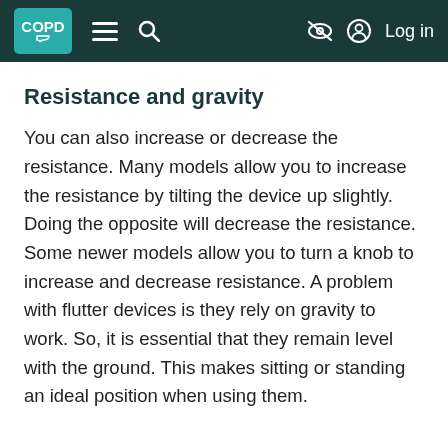COPD [menu] [search] [no-icon] [account] Log in
Resistance and gravity
You can also increase or decrease the resistance. Many models allow you to increase the resistance by tilting the device up slightly. Doing the opposite will decrease the resistance. Some newer models allow you to turn a knob to increase and decrease resistance. A problem with flutter devices is they rely on gravity to work. So, it is essential that they remain level with the ground. This makes sitting or standing an ideal position when using them.